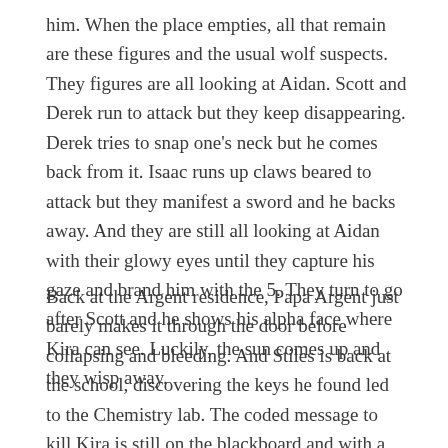him. When the place empties, all that remain are these figures and the usual wolf suspects. They figures are all looking at Aidan. Scott and Derek run to attack but they keep disappearing. Derek tries to snap one's neck but he comes back from it. Isaac runs up claws beared to attack but they manifest a sword and he backs away. And they are still all looking at Aidan with their glowy eyes until they capture his gaze and brand him with the 5. They turn to go after Scott and he shows his alpha face where Kira can see. Luckily, the sun comes up and they wisp away.
Back at the Argent residence, Papa Argent just barely makes it through the door before collapsing and bleeding. And Stiles is back at the school, discovering the keys he found led to the Chemistry lab. The coded message to kill Kira is still on the blackboard and with a sneaking suspicion, he shakily picks up a piece of chalk